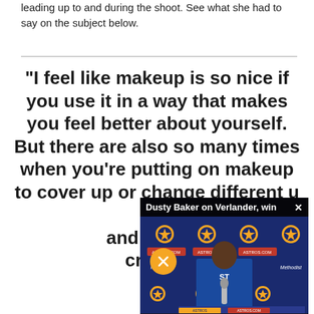leading up to and during the shoot. See what she had to say on the subject below.
“I feel like makeup is so nice if you use it in a way that makes you feel better about yourself. But there are also so many times when you’re putting on makeup to cover up or change different u... says the s... and more w... creates a...
[Figure (screenshot): Video overlay showing Dusty Baker press conference with Houston Astros branding. Title bar reads 'Dusty Baker on Verlander, win' with a close (X) button. A mute button icon is visible. The video shows a man in an Astros jersey sitting at a press conference table with Astros and Methodist sponsor logos in the background.]